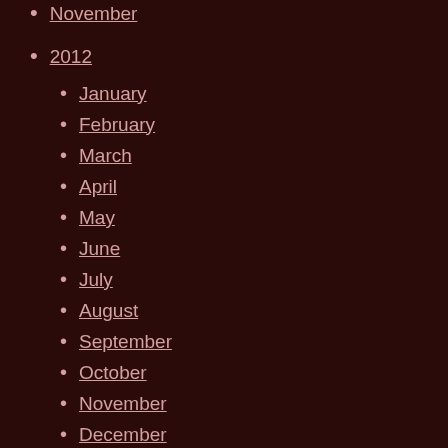2012
January
February
March
April
May
June
July
August
September
October
November
December
2011
January
February
March
April
June
July